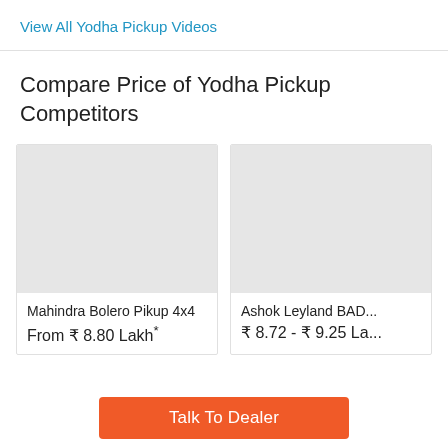View All Yodha Pickup Videos
Compare Price of Yodha Pickup Competitors
[Figure (photo): Placeholder image for Mahindra Bolero Pikup 4x4 (grey rectangle)]
Mahindra Bolero Pikup 4x4
From ₹ 8.80 Lakh*
[Figure (photo): Placeholder image for Ashok Leyland BADSHAH (grey rectangle, partially visible)]
Ashok Leyland BAD...
₹ 8.72 - ₹ 9.25 La...
Talk To Dealer